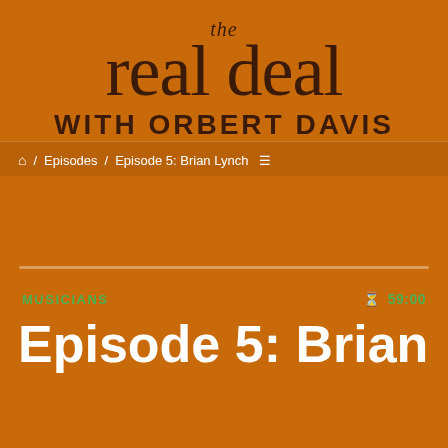the real deal with ORBERT DAVIS
🏠 / Episodes / Episode 5: Brian Lynch
[Figure (photo): Background photo of a person (Brian Lynch) partially visible, overlaid with orange tint]
MUSICIANS   ⏱ 59:00
Episode 5: Brian